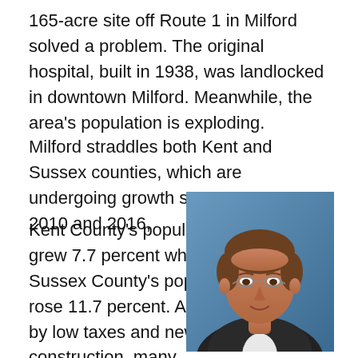165-acre site off Route 1 in Milford solved a problem. The original hospital, built in 1938, was landlocked in downtown Milford. Meanwhile, the area's population is exploding.
Milford straddles both Kent and Sussex counties, which are undergoing growth spurts. Between 2010 and 2016,
Kent County's population grew 7.7 percent while Sussex County's population rose 11.7 percent. Attracted by low taxes and new construction, many
[Figure (photo): Portrait photo of a middle-aged man with short brown hair and glasses, wearing a dark suit, against a blue background.]